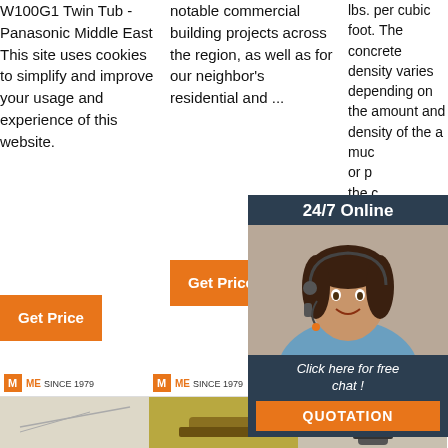W100G1 Twin Tub - Panasonic Middle East This site uses cookies to simplify and improve your usage and experience of this website.
notable commercial building projects across the region, as well as for our neighbor's residential and ...
lbs. per cubic foot. The concrete density varies depending on the amount and density of the a... muc... or p... the c... conc... max... agg...
[Figure (infographic): Chat widget overlay with agent photo, '24/7 Online' header, 'Click here for free chat!' text, and QUOTATION button]
[Figure (infographic): TOP button with orange dot triangle and bold orange TOP text]